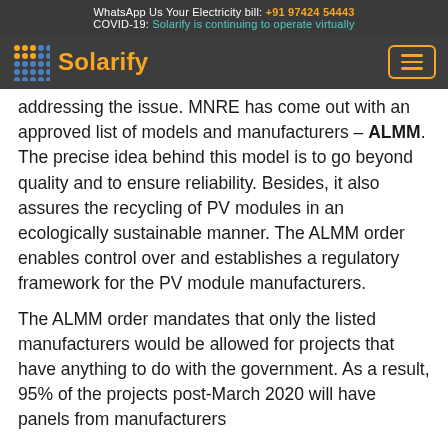WhatsApp Us Your Electricity bill: +91 97424 54443
COVID-19: Solarify is continuing to operate virtually
Solarify
addressing the issue. MNRE has come out with an approved list of models and manufacturers – ALMM. The precise idea behind this model is to go beyond quality and to ensure reliability. Besides, it also assures the recycling of PV modules in an ecologically sustainable manner. The ALMM order enables control over and establishes a regulatory framework for the PV module manufacturers.
The ALMM order mandates that only the listed manufacturers would be allowed for projects that have anything to do with the government. As a result, 95% of the projects post-March 2020 will have panels from manufacturers